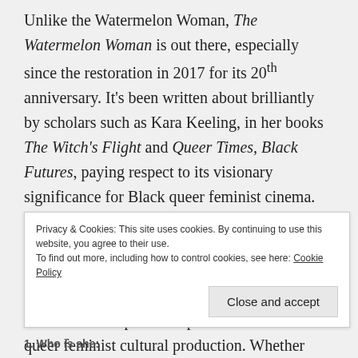Unlike the Watermelon Woman, The Watermelon Woman is out there, especially since the restoration in 2017 for its 20th anniversary. It's been written about brilliantly by scholars such as Kara Keeling, in her books The Witch's Flight and Queer Times, Black Futures, paying respect to its visionary significance for Black queer feminist cinema. One of the reasons that the film remains so thrilling is that, like Richards' long career across different kinds of performance, The Watermelon Woman brings together, spins off from and continues to inspire multiple modes of Black queer feminist cultural production. Whether you're looking for your next
Privacy & Cookies: This site uses cookies. By continuing to use this website, you agree to their use.
To find out more, including how to control cookies, see here: Cookie Policy
Close and accept
1. Who is she: